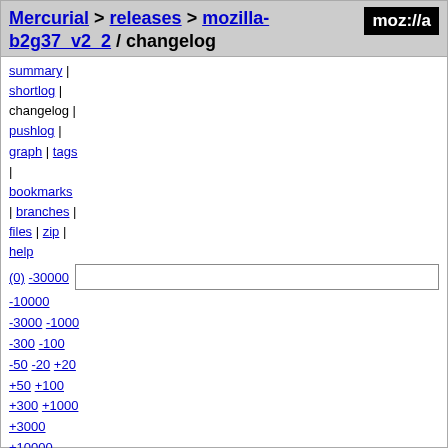Mercurial > releases > mozilla-b2g37_v2_2 / changelog
summary | shortlog | changelog | pushlog | graph | tags | bookmarks | branches | files | zip | help
(0) -30000 -10000 -3000 -1000 -300 -100 -50 -20 +20 +50 +100 +300 +1000 +3000 +10000 +30000 +100000 tip
ad21235547c04c56a971b0cb4a8631d965f213f0: closing old branch that is no longer used per bug 611030 GECKO192a1_20090806_RELBRANCH
diff browse Shawn Wilsher <me@shawnwilsher.com> - Thu, 03 Feb 2011 11:54:18 -0800 - rev 61885